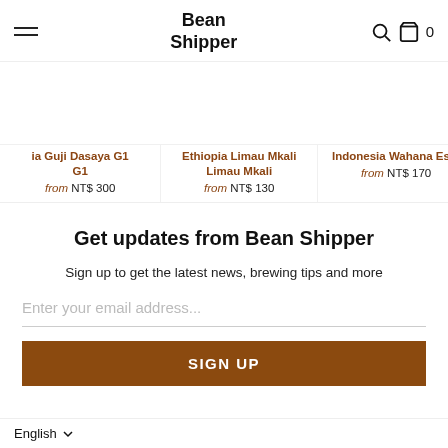Bean Shipper
ia Guji Dasaya G1 G1 — from NT$ 300
Ethiopia Limau Mkali Limau Mkali — from NT$ 130
Indonesia Wahana Esta — from NT$ 170
Get updates from Bean Shipper
Sign up to get the latest news, brewing tips and more
Enter your email address...
SIGN UP
English